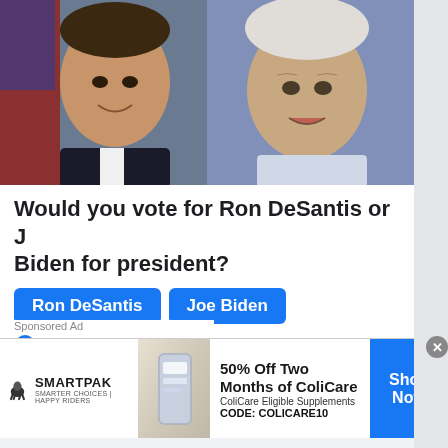[Figure (photo): Side-by-side photos of Ron DeSantis (left, smiling, in suit with American flag) and Joe Biden (right, speaking, white-haired, blue background)]
Would you vote for Ron DeSantis or Joe Biden for president?
Ron DeSantis | Joe Biden (vote buttons)
492,504 Votes
[Figure (infographic): SmartPak advertisement: 50% Off Two Months of ColiCare, ColiCare Eligible Supplements, CODE: COLICARE10, Shop Now button]